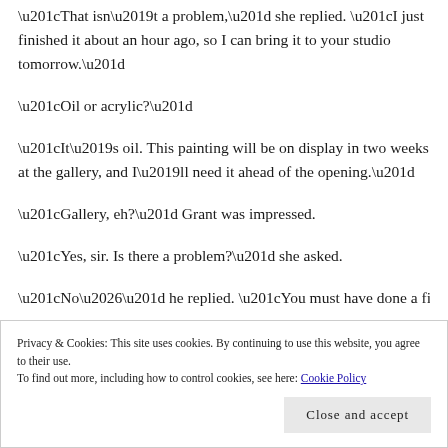“That isn’t a problem,” she replied. “I just finished it about an hour ago, so I can bring it to your studio tomorrow.”
“Oil or acrylic?”
“It’s oil. This painting will be on display in two weeks at the gallery, and I’ll need it ahead of the opening.”
“Gallery, eh?” Grant was impressed.
“Yes, sir. Is there a problem?” she asked.
“No…” he replied. “You must have done a fine…
Privacy & Cookies: This site uses cookies. By continuing to use this website, you agree to their use.
To find out more, including how to control cookies, see here: Cookie Policy
Close and accept